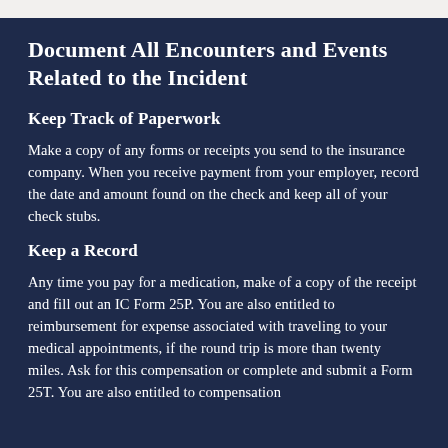Document All Encounters and Events Related to the Incident
Keep Track of Paperwork
Make a copy of any forms or receipts you send to the insurance company. When you receive payment from your employer, record the date and amount found on the check and keep all of your check stubs.
Keep a Record
Any time you pay for a medication, make of a copy of the receipt and fill out an IC Form 25P. You are also entitled to reimbursement for expense associated with traveling to your medical appointments, if the round trip is more than twenty miles. Ask for this compensation or complete and submit a Form 25T. You are also entitled to compensation